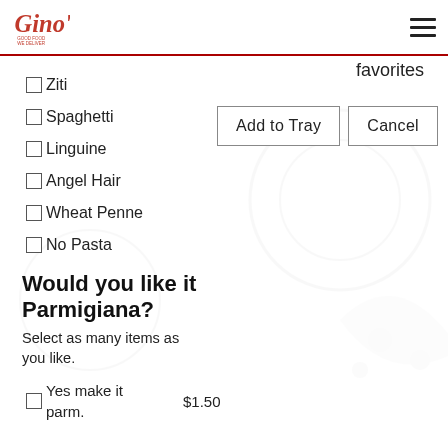Gino's logo and hamburger menu
favorites
Ziti
Spaghetti
Linguine
Angel Hair
Wheat Penne
No Pasta
Add to Tray   Cancel
Would you like it Parmigiana?
Select as many items as you like.
Yes make it parm.  $1.50
Would you like to add